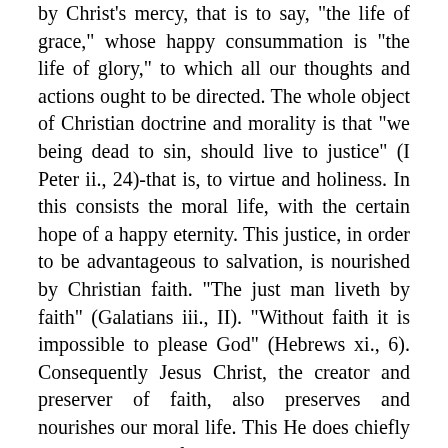by Christ's mercy, that is to say, "the life of grace," whose happy consummation is "the life of glory," to which all our thoughts and actions ought to be directed. The whole object of Christian doctrine and morality is that "we being dead to sin, should live to justice" (I Peter ii., 24)-that is, to virtue and holiness. In this consists the moral life, with the certain hope of a happy eternity. This justice, in order to be advantageous to salvation, is nourished by Christian faith. "The just man liveth by faith" (Galatians iii., II). "Without faith it is impossible to please God" (Hebrews xi., 6). Consequently Jesus Christ, the creator and preserver of faith, also preserves and nourishes our moral life. This He does chiefly by the ministry of His Church. To Her, in His wise and merciful counsel, He has entrusted certain agencies which engender the supernatural life, protect it, and revive it if it should fail. This generative and conservative power of the virtues that make for salvation is